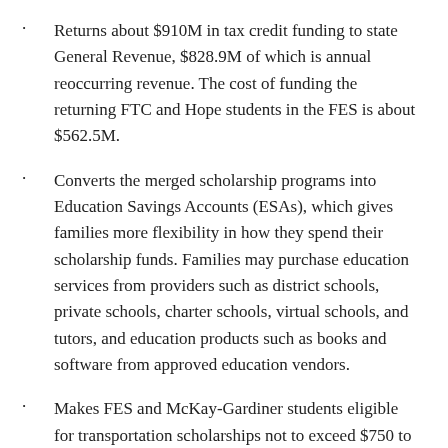Returns about $910M in tax credit funding to state General Revenue, $828.9M of which is annual reoccurring revenue. The cost of funding the returning FTC and Hope students in the FES is about $562.5M.
Converts the merged scholarship programs into Education Savings Accounts (ESAs), which gives families more flexibility in how they spend their scholarship funds. Families may purchase education services from providers such as district schools, private schools, charter schools, virtual schools, and tutors, and education products such as books and software from approved education vendors.
Makes FES and McKay-Gardiner students eligible for transportation scholarships not to exceed $750 to attend a